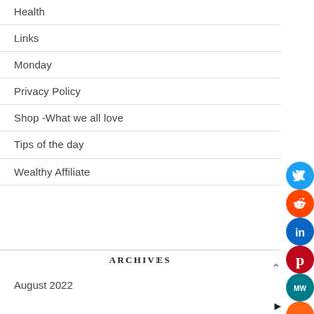Health
Links
Monday
Privacy Policy
Shop -What we all love
Tips of the day
Wealthy Affiliate
ARCHIVES
August 2022
[Figure (infographic): Vertical stack of social media icon buttons: Twitter (blue), Reddit (orange), LinkedIn (dark blue), Pinterest (red), MeWe (dark teal), Mix (orange), WhatsApp (green), Instagram (gradient), Facebook (dark blue), Share (orange)]